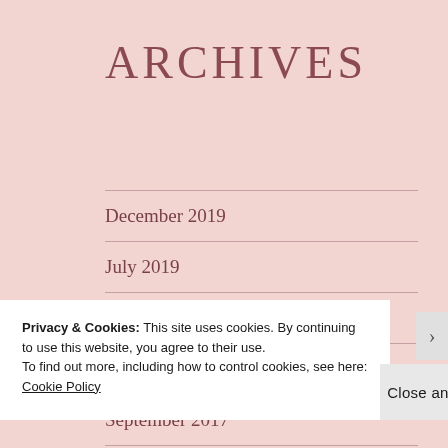Archives
December 2019
July 2019
March 2019
December 2017
September 2017
July 2017
Privacy & Cookies: This site uses cookies. By continuing to use this website, you agree to their use.
To find out more, including how to control cookies, see here: Cookie Policy
Close and accept